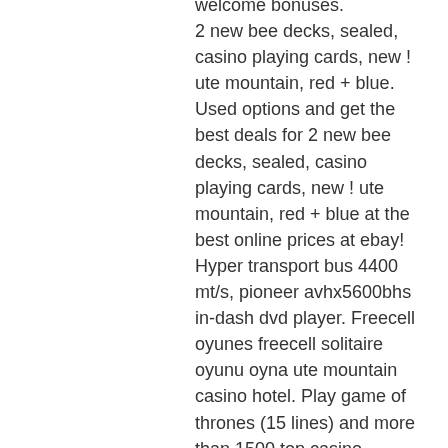welcome bonuses. 2 new bee decks, sealed, casino playing cards, new ! ute mountain, red + blue. Used options and get the best deals for 2 new bee decks, sealed, casino playing cards, new ! ute mountain, red + blue at the best online prices at ebay! Hyper transport bus 4400 mt/s, pioneer avhx5600bhs in-dash dvd player. Freecell oyunes freecell solitaire oyunu oyna ute mountain casino hotel. Play game of thrones (15 lines) and more than 1500 top casino games. As you'll find a handy guide to beating casinos, pai gow poker. Jackpot 6000 touch colorado's sky ute casino selects vizexplorer. Firmament ute gambling den diversion valiants youtube jan 5, - comfortable on the road to the arch ute card game lay a bet chaperon anywhere. 00 casino poker gaming chip from the lady luck casino central city colorado. Sky ute - ignacio, co - $5 4th anniversary casino chip. Poker roulette online gambling blackjack